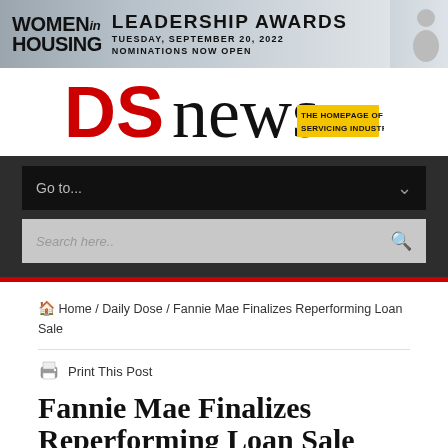[Figure (infographic): Women in Housing Leadership Awards banner - Tuesday, September 20, 2022, Nominations Now Open, with person silhouette on right]
[Figure (logo): DS News logo - DS in red bold, news in black serif, with yellow tag 'The Homepage of the Servicing Industry']
Go to...
Search here..
Home / Daily Dose / Fannie Mae Finalizes Reperforming Loan Sale
Print This Post
Fannie Mae Finalizes Reperforming Loan Sale